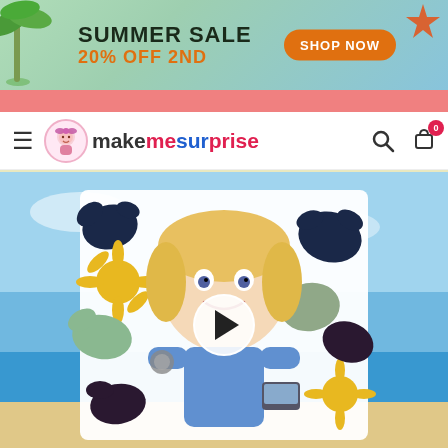[Figure (infographic): Summer Sale banner with green-blue gradient background, palm tree on left, starfish top-right. Text: SUMMER SALE / 20% OFF 2nd with orange SHOP NOW button]
[Figure (infographic): Pink/salmon horizontal bar beneath the banner]
MakeMeSurprise navigation bar with hamburger menu, logo, search and cart icons
[Figure (photo): Product photo: nurse caricature on a custom beach towel with floral ink-splash pattern. Woman holding the towel displays at a beach background. Video play button overlay in center.]